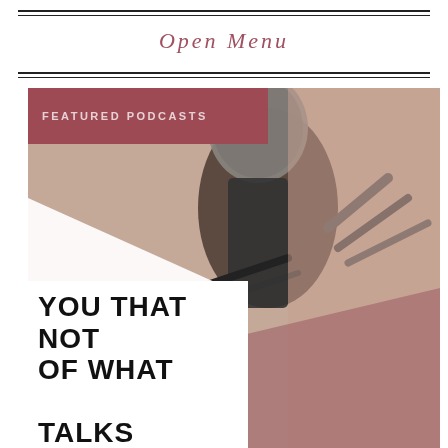Open Menu
FEATURED PODCASTS
[Figure (photo): Close-up photo of a studio condenser microphone on a stand, with blurred warm background. A diagonal white shape overlaps the lower-left, and a mauve/dusty rose shape overlaps the lower-right.]
YOU THAT
NOT
OF WHAT

TALKS